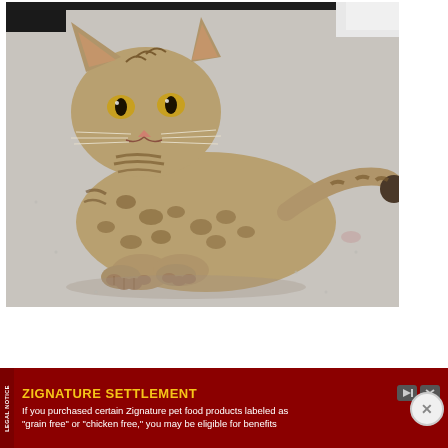[Figure (photo): A spotted Bengal cat lying on a gray floor, looking directly at the camera. The cat has distinct spotted and striped markings, prominent whiskers, and a long tail curled to the right. Paws stretched forward.]
LEGAL NOTICE
ZIGNATURE SETTLEMENT
If you purchased certain Zignature pet food products labeled as "grain free" or "chicken free," you may be eligible for benefits